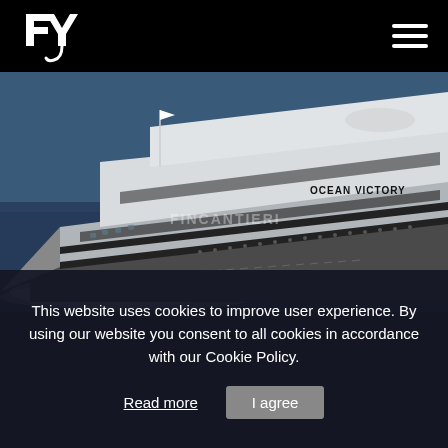[Figure (logo): FY (Fincantieri Yachts) stylized logo in white on black background]
[Figure (photo): Large luxury superyacht named 'OCEAN VICTORY' with 'FINCANTIERI' watermark, sailing on open water, silver/white hull, multiple decks]
This website uses cookies to improve user experience. By using our website you consent to all cookies in accordance with our Cookie Policy.
Read more
I agree